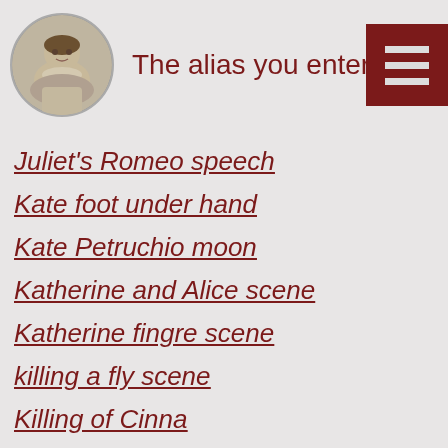The alias you entered was n… [hamburger menu icon]
Juliet's Romeo speech
Kate foot under hand
Kate Petruchio moon
Katherine and Alice scene
Katherine fingre scene
killing a fly scene
Killing of Cinna
killing of Hector